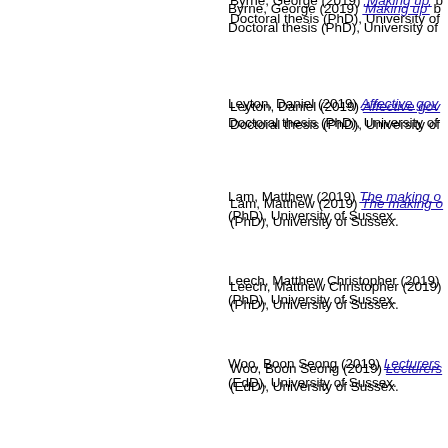Byrne, George (2019) 'Making up' [link]. Doctoral thesis (PhD), University of...
Leyton, Daniel (2019) Affective gov... [link]. Doctoral thesis (PhD), University of...
Lam, Matthew (2019) The making o... [link]. (PhD), University of Sussex.
Leech, Matthew Christopher (2019)... (PhD), University of Sussex.
Woo, Boon Seong (2019) Lecturers... (EdD), University of Sussex.
Paluch, Marta (2019) Compañeras... thesis (PhD), University of Sussex.
Irfan, Anne (2019) Internationalising... (PhD), London School of Economic...
Sindarto, Marsha Moniaga (2019) A... cocaine-facilitated conditioned beh...
Tornquist, Michelle (2019) What ma... emotions and emotion regulation in...